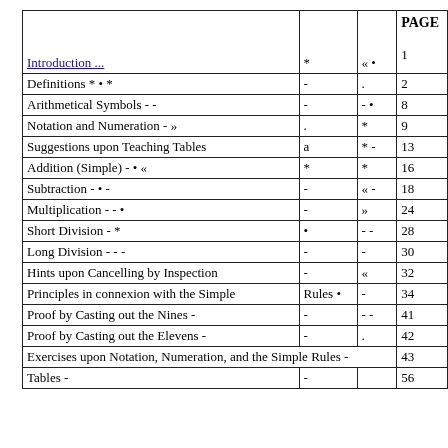|  |  |  | PAGE |
| --- | --- | --- | --- |
| Introduction ... | * | « • | 1 |
| Definitions * • * | - | . | 2 |
| Arithmetical Symbols - - | - | - • | 8 |
| Notation and Numeration - » | . | * | 9 |
| Suggestions upon Teaching Tables | a | * - | 13 |
| Addition (Simple) - • « | * | * | 16 |
| Subtraction - • - | - | « - | 18 |
| Multiplication - - • | - | » | 24 |
| Short Division - * | • | - - | 28 |
| Long Division - - - | - | - | 30 |
| Hints upon Cancelling by Inspection | - | « | 32 |
| Principles in connexion with the Simple | Rules • | - | 34 |
| Proof by Casting out the Nines - | - | - - | 41 |
| Proof by Casting out the Elevens - | - | . | 42 |
| Exercises upon Notation, Numeration, and the Simple Rules - |  |  | 43 |
| Tables - | - |  | 56 |